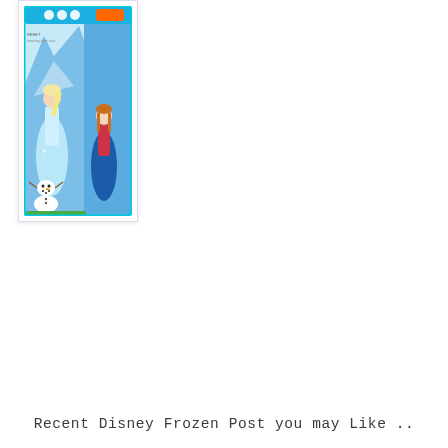[Figure (photo): Product photo of Disney Frozen themed toothbrush or bookmark packaging featuring Elsa, Anna, and Olaf characters with a blue wintry background design]
Check Price
Recent Disney Frozen Post you may Like ..